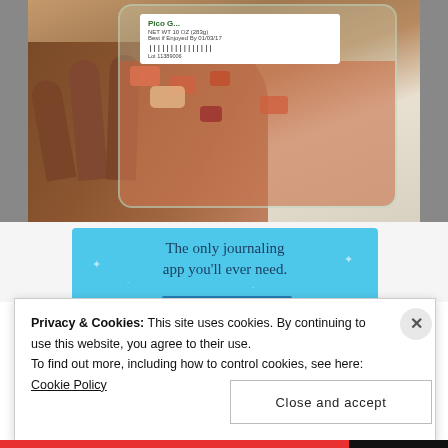[Figure (photo): A hand holding a clear plastic container of Pico de Gallo salsa with a product label showing barcode, net weight 10oz (283g), Best if Enjoyed By 01/03/17, and Lot number 11389006]
[Figure (screenshot): Blue advertisement banner reading 'The only journaling app you'll ever need.' with decorative sparkle elements]
Privacy & Cookies: This site uses cookies. By continuing to use this website, you agree to their use.
To find out more, including how to control cookies, see here: Cookie Policy
Close and accept